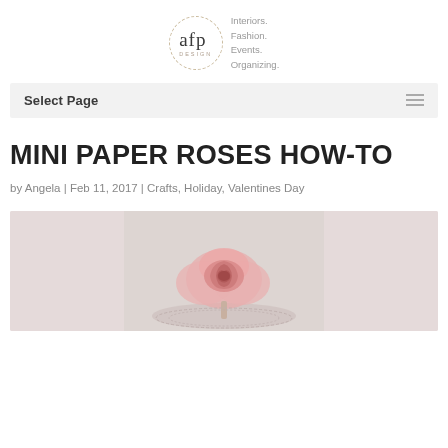[Figure (logo): AFP Design logo: circle with dashed border containing 'afp' in serif font with 'DESIGN' below it, and tagline 'Interiors. Fashion. Events. Organizing.' to the right]
Select Page
MINI PAPER ROSES HOW-TO
by Angela | Feb 11, 2017 | Crafts, Holiday, Valentines Day
[Figure (photo): Photo of a pink paper rose craft project on a light grey background]